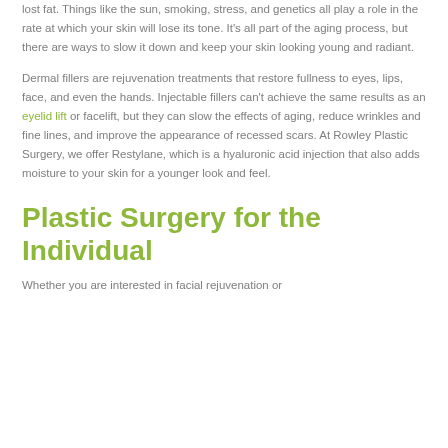lost fat. Things like the sun, smoking, stress, and genetics all play a role in the rate at which your skin will lose its tone. It’s all part of the aging process, but there are ways to slow it down and keep your skin looking young and radiant.
Dermal fillers are rejuvenation treatments that restore fullness to eyes, lips, face, and even the hands. Injectable fillers can’t achieve the same results as an eyelid lift or facelift, but they can slow the effects of aging, reduce wrinkles and fine lines, and improve the appearance of recessed scars. At Rowley Plastic Surgery, we offer Restylane, which is a hyaluronic acid injection that also adds moisture to your skin for a younger look and feel.
Plastic Surgery for the Individual
Whether you are interested in facial rejuvenation or